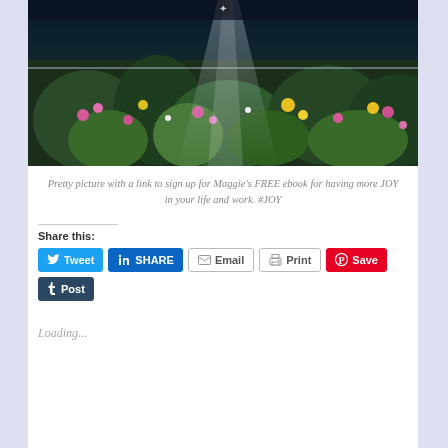[Figure (photo): Garden photo with colorful flowers (pink, yellow) and greenery with sunlight rays, partially cropped at top]
Pretty picture with a link to sign up for Maggie's FREE ebook for having more JOY in your life and work. #JOY
Share this:
Tweet | SHARE | Email | Print | Save | Post
Loading...